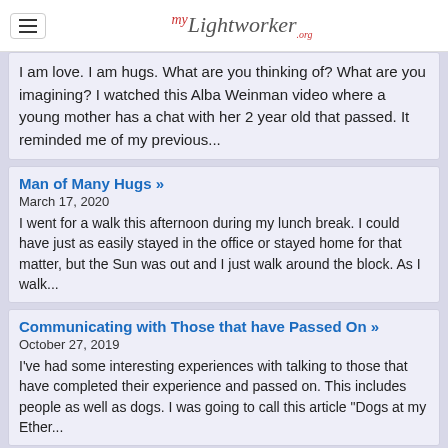myLightworker
I am love. I am hugs. What are you thinking of? What are you imagining? I watched this Alba Weinman video where a young mother has a chat with her 2 year old that passed. It reminded me of my previous...
Man of Many Hugs »
March 17, 2020
I went for a walk this afternoon during my lunch break. I could have just as easily stayed in the office or stayed home for that matter, but the Sun was out and I just walk around the block. As I walk...
Communicating with Those that have Passed On »
October 27, 2019
I've had some interesting experiences with talking to those that have completed their experience and passed on. This includes people as well as dogs. I was going to call this article "Dogs at my Ether...